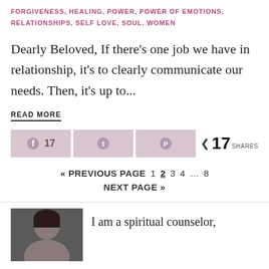FORGIVENESS, HEALING, POWER, POWER OF EMOTIONS, RELATIONSHIPS, SELF LOVE, SOUL, WOMEN
Dearly Beloved, If there's one job we have in relationship, it's to clearly communicate our needs. Then, it's up to...
READ MORE
17 shares (social share bar with Facebook, Twitter, Pinterest)
« PREVIOUS PAGE  1  2  3  4  …  8  NEXT PAGE »
I am a spiritual counselor,